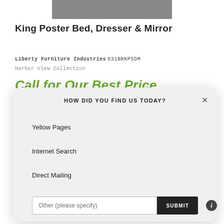[Figure (photo): Partial product photo of King Poster Bed, Dresser & Mirror (top portion visible)]
King Poster Bed, Dresser & Mirror
Liberty Furniture Industries 631BRKPSDM
Harbor View Collection
Call for Our Best Price
[Figure (screenshot): Modal dialog: HOW DID YOU FIND US TODAY? with options Yellow Pages, Internet Search, Direct Mailing, an Other text input, and a SUBMIT button. Also has an X close button and an info button.]